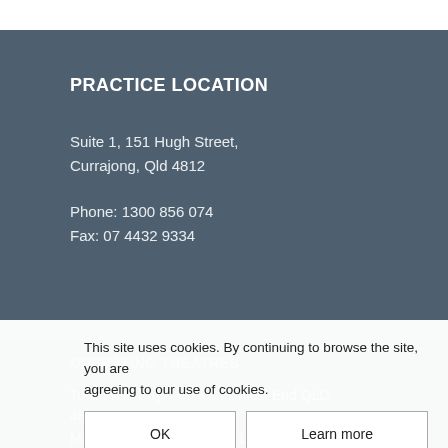PRACTICE LOCATION
Suite 1, 151 Hugh Street,
Currajong, Qld 4812
Phone: 1300 856 074
Fax: 07 4432 9334
OPERATING THEATRES
Townsville Day ... West End QLD 4810
This site uses cookies. By continuing to browse the site, you are agreeing to our use of cookies.